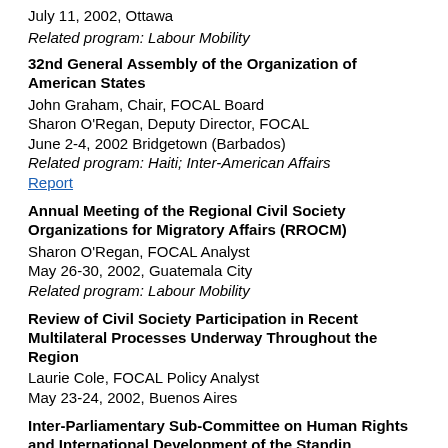July 11, 2002, Ottawa
Related program: Labour Mobility
32nd General Assembly of the Organization of American States
John Graham, Chair, FOCAL Board
Sharon O'Regan, Deputy Director, FOCAL
June 2-4, 2002 Bridgetown (Barbados)
Related program: Haiti; Inter-American Affairs
Report
Annual Meeting of the Regional Civil Society Organizations for Migratory Affairs (RROCM)
Sharon O'Regan, FOCAL Analyst
May 26-30, 2002, Guatemala City
Related program: Labour Mobility
Review of Civil Society Participation in Recent Multilateral Processes Underway Throughout the Region
Laurie Cole, FOCAL Policy Analyst
May 23-24, 2002, Buenos Aires
Inter-Parliamentary Sub-Committee on Human Rights and International Development of the Standing...